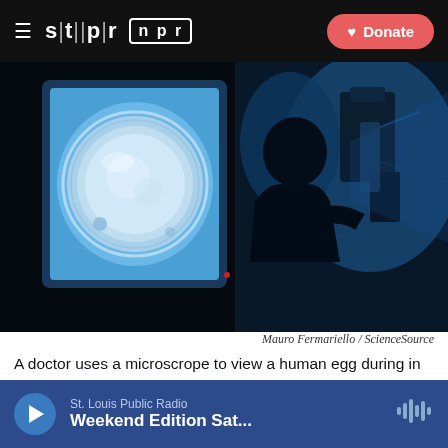STLPR NPR — Donate
[Figure (photo): A doctor uses a microscope to view a human egg during in vitro fertilization (IVF). Split image showing a close-up microscope view of a human egg on the left (light blue tones, circular egg cell visible on screen) and a silhouetted doctor at a microscope on the right (blue-lit laboratory scene).]
Mauro Fermariello / ScienceSource
A doctor uses a microscrope to view a human egg during in vitro fertilization (IVF), which is used to fertilize eggs that have been frozen.
St. Louis Public Radio — Weekend Edition Sat...